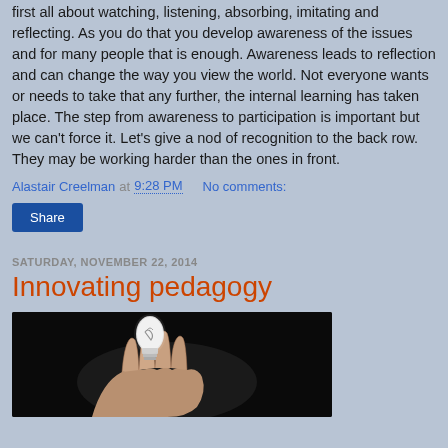first all about watching, listening, absorbing, imitating and reflecting. As you do that you develop awareness of the issues and for many people that is enough. Awareness leads to reflection and can change the way you view the world. Not everyone wants or needs to take that any further, the internal learning has taken place. The step from awareness to participation is important but we can't force it. Let's give a nod of recognition to the back row. They may be working harder than the ones in front.
Alastair Creelman at 9:28 PM   No comments:
Share
SATURDAY, NOVEMBER 22, 2014
Innovating pedagogy
[Figure (photo): A dark photo showing a hand holding a white energy-saving light bulb against a black background]